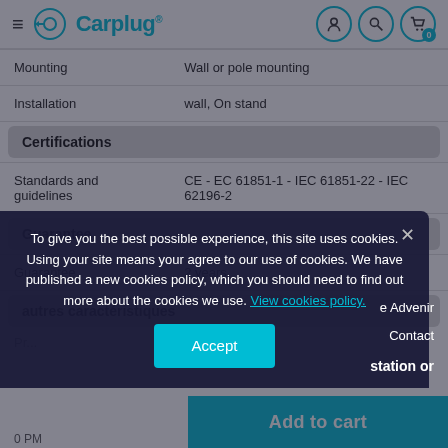Carplug
| Mounting | Wall or pole mounting |
| Installation | wall, On stand |
Certifications
| Standards and guidelines | CE - EC 61851-1 - IEC 61851-22 - IEC 62196-2 |
Guarantee
| Guarantee | 2 years |
autres caractéristiques
To give you the best possible experience, this site uses cookies. Using your site means your agree to our use of cookies. We have published a new cookies policy, which you should need to find out more about the cookies we use. View cookies policy.
Accept
Add to cart